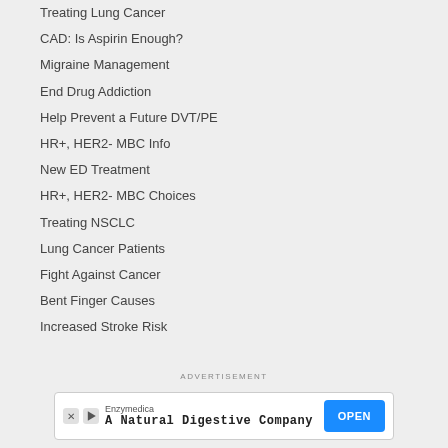Treating Lung Cancer
CAD: Is Aspirin Enough?
Migraine Management
End Drug Addiction
Help Prevent a Future DVT/PE
HR+, HER2- MBC Info
New ED Treatment
HR+, HER2- MBC Choices
Treating NSCLC
Lung Cancer Patients
Fight Against Cancer
Bent Finger Causes
Increased Stroke Risk
ADVERTISEMENT
[Figure (other): Advertisement banner for Enzymedica - A Natural Digestive Company with an OPEN button]